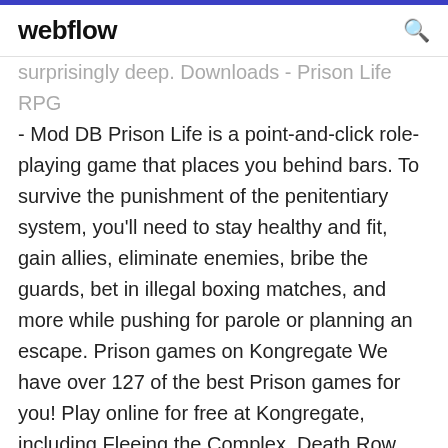webflow
surprisingly deep. Downloads - Prison Life RPG - Mod DB Prison Life is a point-and-click role-playing game that places you behind bars. To survive the punishment of the penitentiary system, you'll need to stay healthy and fit, gain allies, eliminate enemies, bribe the guards, bet in illegal boxing matches, and more while pushing for parole or planning an escape. Prison games on Kongregate We have over 127 of the best Prison games for you! Play online for free at Kongregate, including Fleeing the Complex, Death Row, and The Torture Game 2 Prison Life RPG apk file | ApkFiles.com Prison Life RPG apk file (3) 222. Download Free (8.9 mb) Promote file Edit file. v1.2.8 for Android